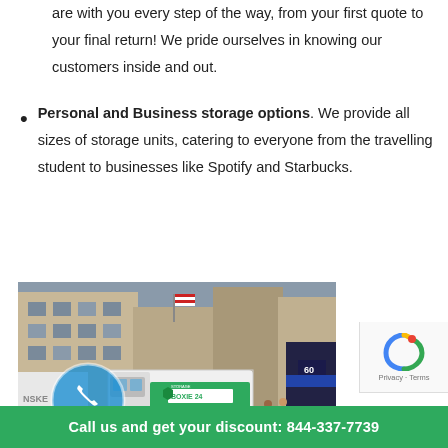Personalized Customer Service: Our expert agents are with you every step of the way, from your first quote to your final return! We pride ourselves in knowing our customers inside and out.
Personal and Business storage options. We provide all sizes of storage units, catering to everyone from the travelling student to businesses like Spotify and Starbucks.
[Figure (photo): Street scene photo showing a Boxie 24 Storage branded van parked on a city street with buildings in the background, an American flag visible, and a phone icon circle overlay on the left side.]
Call us and get your discount: 844-337-7739